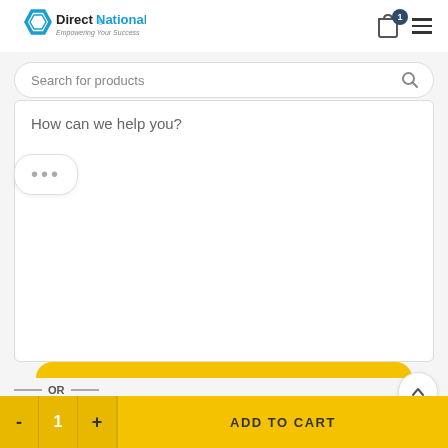[Figure (logo): DirectNational logo with blue hexagon icon and text 'Direct National - Empowering Your Success']
Search for products
How can we help you?
•••
— OR —
ADD TO CART
- 1 +